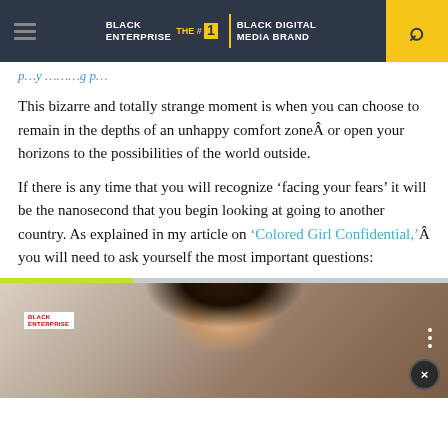BLACK ENTERPRISE — THE #1 BLACK DIGITAL MEDIA BRAND
...p...y ...g p...
This bizarre and totally strange moment is when you can choose to remain in the depths of an unhappy comfort zoneÂ or open your horizons to the possibilities of the world outside.
If there is any time that you will recognize 'facing your fears' it will be the nanosecond that you begin looking at going to another country. As explained in my article on 'Colored Girl Confidential,'Â you will need to ask yourself the most important questions:
[Figure (screenshot): Embedded video thumbnail showing a smiling woman with curly hair, Black Enterprise logo overlay, progress bar at top, three-dot menu icon, and close button]